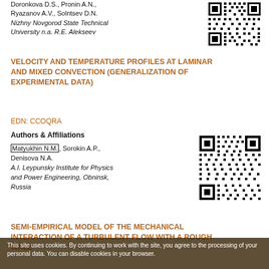Doronkova D.S., Pronin A.N., Ryazanov A.V., Solntsev D.N. Nizhny Novgorod State Technical University n.a. R.E. Alekseev
[Figure (other): QR code for first article]
VELOCITY AND TEMPERATURE PROFILES AT LAMINAR AND MIXED CONVECTION (GENERALIZATION OF EXPERIMENTAL DATA)
EDN: CCOQRA
Authors & Affiliations
Matyukhin N.M., Sorokin A.P., Denisova N.A. A.I. Leypunsky Institute for Physics and Power Engineering, Obninsk, Russia
[Figure (other): QR code for second article]
SEMI-EMPIRICAL MODEL OF THE MECHANICAL INTERACTION OF A TURBULENT FLOW WITH A ROUGH WALL
This site uses cookies. By continuing to work with the site, you agree to the processing of your personal data. You can disable cookies in your browser.